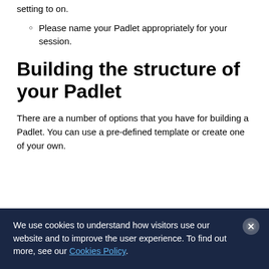setting to on.
Please name your Padlet appropriately for your session.
Building the structure of your Padlet
There are a number of options that you have for building a Padlet. You can use a pre-defined template or create one of your own.
We use cookies to understand how visitors use our website and to improve the user experience. To find out more, see our Cookies Policy.